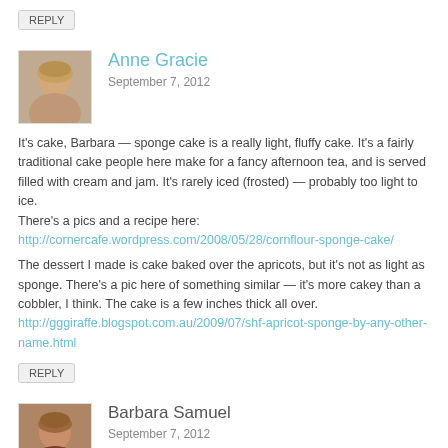REPLY
[Figure (photo): Profile photo of Anne Gracie, a blonde woman]
Anne Gracie
September 7, 2012
It's cake, Barbara — sponge cake is a really light, fluffy cake. It's a fairly traditional cake people here make for a fancy afternoon tea, and is served filled with cream and jam. It's rarely iced (frosted) — probably too light to ice.
There's a pics and a recipe here:
http://cornercafe.wordpress.com/2008/05/28/cornflour-sponge-cake/
The dessert I made is cake baked over the apricots, but it's not as light as sponge. There's a pic here of something similar — it's more cakey than a cobbler, I think. The cake is a few inches thick all over.
http://gggiraffe.blogspot.com.au/2009/07/shf-apricot-sponge-by-any-other-name.html
REPLY
[Figure (photo): Profile photo of Barbara Samuel, a woman with auburn hair]
Barbara Samuel
September 7, 2012